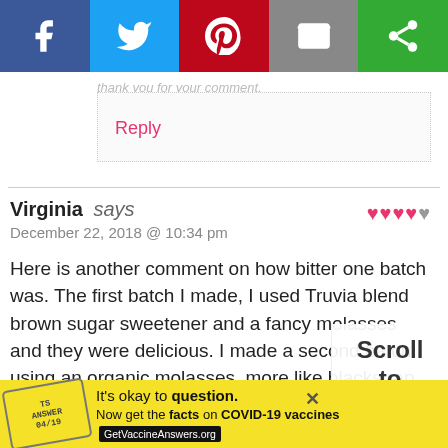[Figure (other): Social media share buttons bar: Facebook (blue), Twitter (light blue), Pinterest (red), Email (gray), Other share (green)]
thank you for your comment.
Reply
Virginia says
December 22, 2018 @ 10:34 pm
Here is another comment on how bitter one batch was. The first batch I made, I used Truvia blend brown sugar sweetener and a fancy molasses and they were delicious. I made a second batch using an organic molasses, more like blackstrap and coconut sugar. My coconut sugar did not pack, so I'm thinking it was not as sweet as yours. I have since found out that blackstrap molasses is the bitterest molasses there is.
Scroll
to
top
It's okay to question. Now get the facts on COVID-19 vaccines GetVaccineAnswers.org